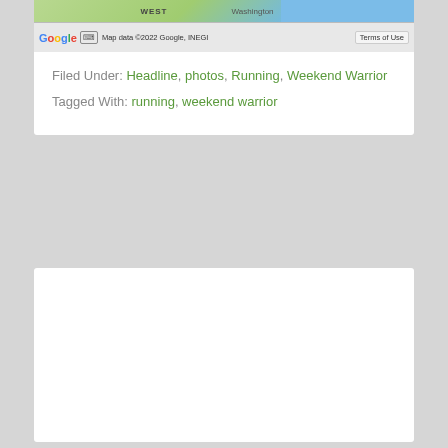[Figure (screenshot): Google Maps partial screenshot showing map area with 'WEST' and 'Washington' labels, blue water area, and Google Maps attribution bar with keyboard icon, 'Map data ©2022 Google, INEGI' and 'Terms of Use' button]
Filed Under: Headline, photos, Running, Weekend Warrior
Tagged With: running, weekend warrior